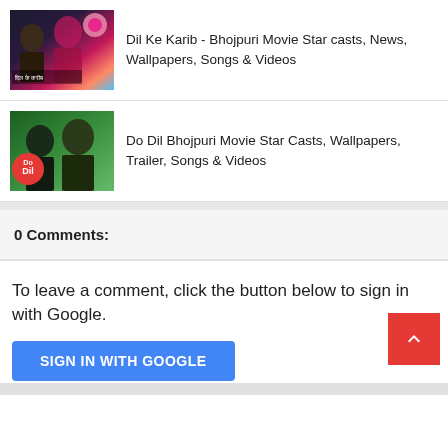[Figure (photo): Thumbnail image for Dil Ke Karib Bhojpuri movie showing actors and Hindi text]
Dil Ke Karib - Bhojpuri Movie Star casts, News, Wallpapers, Songs & Videos
[Figure (photo): Thumbnail image for Do Dil Bhojpuri movie showing two male actors with Do Dil logo badge]
Do Dil Bhojpuri Movie Star Casts, Wallpapers, Trailer, Songs & Videos
0 Comments:
To leave a comment, click the button below to sign in with Google.